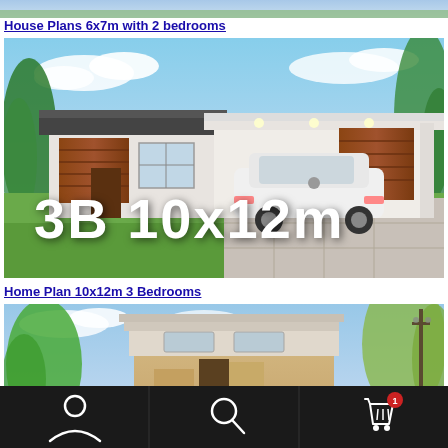[Figure (photo): Partial view of a house plan image at the top, cropped]
House Plans 6x7m with 2 bedrooms
[Figure (photo): Modern single-story house with flat roof, wood accents, carport with white car, overlaid with large white text '3B 10x12m']
Home Plan 10x12m 3 Bedrooms
[Figure (photo): Two-story modern house exterior with beige and grey tones, trees in background, partially visible]
Navigation bar with user icon, search icon, and cart icon with badge showing 1